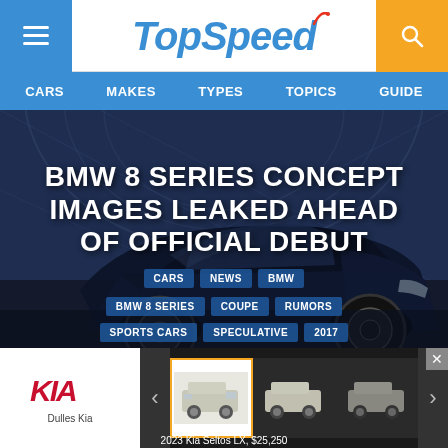TopSpeed — CARS | MAKES | TYPES | TOPICS | GUIDE
[Figure (screenshot): BMW 8 Series Concept car in dark blue in a pavilion setting]
BMW 8 SERIES CONCEPT IMAGES LEAKED AHEAD OF OFFICIAL DEBUT
CARS
NEWS
BMW
BMW 8 SERIES
COUPE
RUMORS
SPORTS CARS
SPECULATIVE
2017
[Figure (photo): Advertisement carousel showing Kia Seltos cars. Caption: 2023 Kia Seltos LX, $25,250]